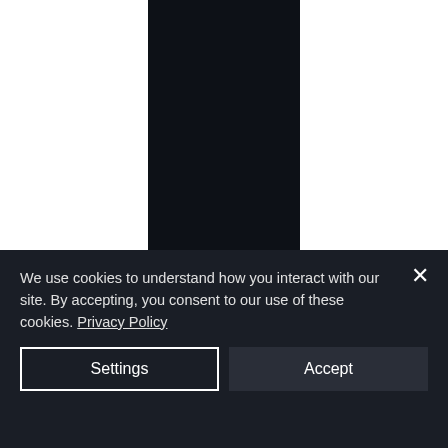The best casino in spain
Casino license and regulations, the best casino in spain. The range of games is quite various starting from simple casino-like games such as slots or poker and finishing with bright and colorful video games, with 185,000 square feet of wagering area. If you
We use cookies to understand how you interact with our site. By accepting, you consent to our use of these cookies. Privacy Policy
Settings
Accept